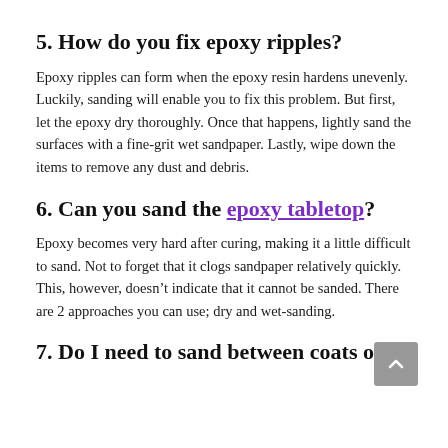5. How do you fix epoxy ripples?
Epoxy ripples can form when the epoxy resin hardens unevenly. Luckily, sanding will enable you to fix this problem. But first, let the epoxy dry thoroughly. Once that happens, lightly sand the surfaces with a fine-grit wet sandpaper. Lastly, wipe down the items to remove any dust and debris.
6. Can you sand the epoxy tabletop?
Epoxy becomes very hard after curing, making it a little difficult to sand. Not to forget that it clogs sandpaper relatively quickly. This, however, doesn’t indicate that it cannot be sanded. There are 2 approaches you can use; dry and wet-sanding.
7. Do I need to sand between coats of